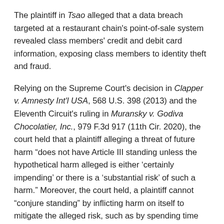The plaintiff in Tsao alleged that a data breach targeted at a restaurant chain's point-of-sale system revealed class members' credit and debit card information, exposing class members to identity theft and fraud.
Relying on the Supreme Court's decision in Clapper v. Amnesty Int'l USA, 568 U.S. 398 (2013) and the Eleventh Circuit's ruling in Muransky v. Godiva Chocolatier, Inc., 979 F.3d 917 (11th Cir. 2020), the court held that a plaintiff alleging a threat of future harm "does not have Article III standing unless the hypothetical harm alleged is either 'certainly impending' or there is a 'substantial risk' of such a harm." Moreover, the court held, a plaintiff cannot "conjure standing" by inflicting harm on itself to mitigate the alleged risk, such as by spending time and resources canceling credit cards, resulting in temporary loss of use of the canceled cards and lost cash back or